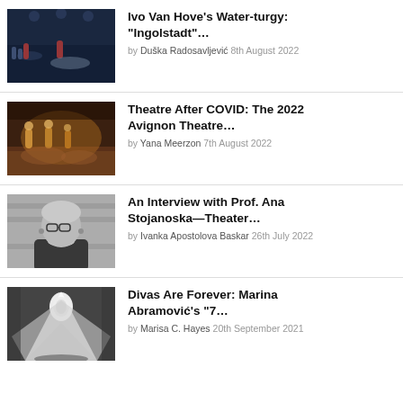Ivo Van Hove's Water-turgy: "Ingolstadt"… by Duška Radosavljević 8th August 2022
Theatre After COVID: The 2022 Avignon Theatre… by Yana Meerzon 7th August 2022
An Interview with Prof. Ana Stojanoska—Theater… by Ivanka Apostolova Baskar 26th July 2022
Divas Are Forever: Marina Abramović's "7… by Marisa C. Hayes 20th September 2021